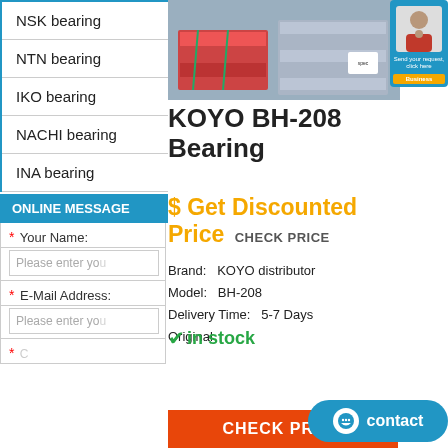NSK bearing
NTN bearing
IKO bearing
NACHI bearing
INA bearing
ONLINE MESSAGE
* Your Name:
Please enter you
* E-Mail Address:
Please enter you
[Figure (photo): Photo of stacked bearing packages on pallets inside a shipping container]
KOYO BH-208 Bearing
$ Get Discounted Price  CHECK PRICE
Brand: KOYO distributor
Model: BH-208
Delivery Time: 5-7 Days
Original
✓ in stock
CHECK PRICE
contact